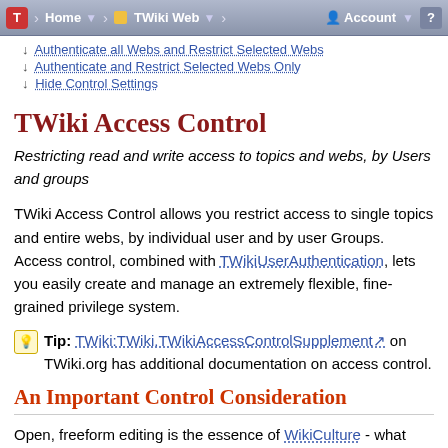T | Home | TWiki Web | Account | ?
↓ Authenticate all Webs and Restrict Selected Webs
↓ Authenticate and Restrict Selected Webs Only
↓ Hide Control Settings
TWiki Access Control
Restricting read and write access to topics and webs, by Users and groups
TWiki Access Control allows you restrict access to single topics and entire webs, by individual user and by user Groups. Access control, combined with TWikiUserAuthentication, lets you easily create and manage an extremely flexible, fine-grained privilege system.
💡 Tip: TWiki:TWiki.TWikiAccessControlSupplement on TWiki.org has additional documentation on access control.
An Important Control Consideration
Open, freeform editing is the essence of WikiCulture - what makes TWiki different and often more effective than other